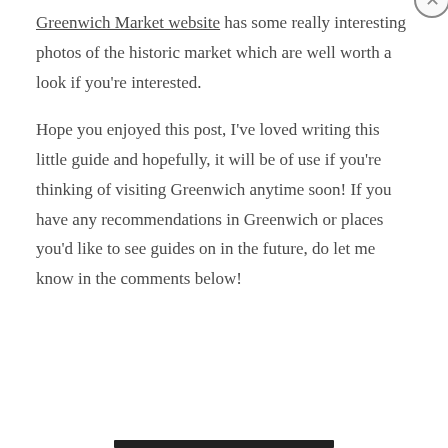Greenwich Market website has some really interesting photos of the historic market which are well worth a look if you're interested.
Hope you enjoyed this post, I've loved writing this little guide and hopefully, it will be of use if you're thinking of visiting Greenwich anytime soon! If you have any recommendations in Greenwich or places you'd like to see guides on in the future, do let me know in the comments below!
Privacy & Cookies: This site uses cookies. By continuing to use this website, you agree to their use.
To find out more, including how to control cookies, see here: Cookie Policy
Close and accept